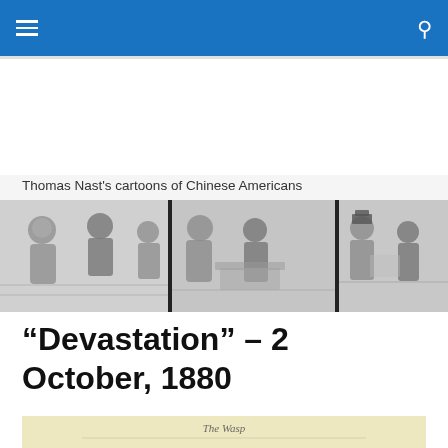Thomas Nast's cartoons of Chinese Americans
[Figure (illustration): A horizontal strip of four black-and-white Thomas Nast editorial cartoons depicting Chinese Americans, circa 1880.]
“Devastation” – 2 October, 1880
[Figure (illustration): Partial view of a historical editorial cartoon by Nast, yellow-toned paper, with handwritten-style title text at top reading 'The Wasp'.]